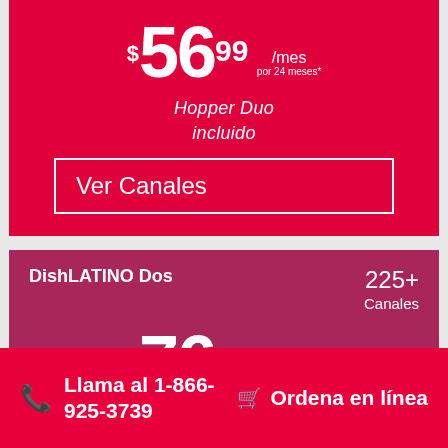$56.99 /mes por 24 meses* Hopper Duo incluido
Ver Canales
DishLATINO Dos 225+ Canales
$76.99 /mes por 24 meses* Hopper Duo
Llama al 1-866-925-3739
Ordena en línea